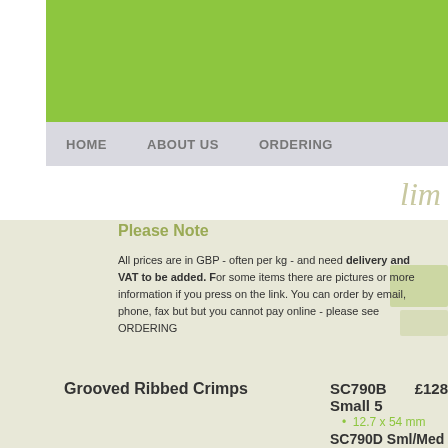[Figure (other): Green banner/header background at top of page]
HOME   ABOUT US   ORDERING
Please Note
All prices are in GBP - often per kg - and need delivery and VAT to be added. For some items there are pictures or more information if you press on the link. You can order by email, phone, fax but but you cannot pay online - please see ORDERING
Grooved Ribbed Crimps
steel handle - bronze pad
4 sizes
8 grooves per inch
SC790B Small 5   £128
12.7 x 54 mm
SC790D Sml/Med 6   £128.20
19 x 54 mm